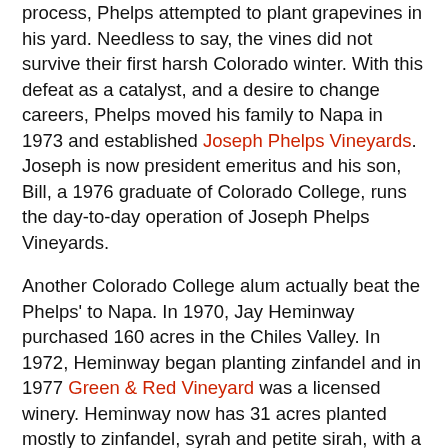process, Phelps attempted to plant grapevines in his yard. Needless to say, the vines did not survive their first harsh Colorado winter. With this defeat as a catalyst, and a desire to change careers, Phelps moved his family to Napa in 1973 and established Joseph Phelps Vineyards. Joseph is now president emeritus and his son, Bill, a 1976 graduate of Colorado College, runs the day-to-day operation of Joseph Phelps Vineyards.
Another Colorado College alum actually beat the Phelps' to Napa. In 1970, Jay Heminway purchased 160 acres in the Chiles Valley. In 1972, Heminway began planting zinfandel and in 1977 Green & Red Vineyard was a licensed winery. Heminway now has 31 acres planted mostly to zinfandel, syrah and petite sirah, with a little sauvignon blanc thrown in the mix. Heminway also sells fruit to producers such as Turley Wine Cellars (winemaker Tegan Passalacqua has family that lives in Colorado).
Over in Sonoma, another former Colorado Springs resident started a winery focused on chardonnay. Brice Cutrer Jones spent much of his childhood in Colorado Springs and